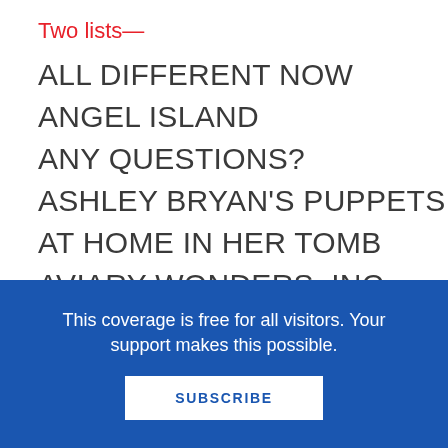Two lists—
ALL DIFFERENT NOW
ANGEL ISLAND
ANY QUESTIONS?
ASHLEY BRYAN'S PUPPETS
AT HOME IN HER TOMB
AVIARY WONDERS, INC.
THE BABY TREE
BECAUSE THEY MARCHED
BELZHAR
This coverage is free for all visitors. Your support makes this possible.
SUBSCRIBE